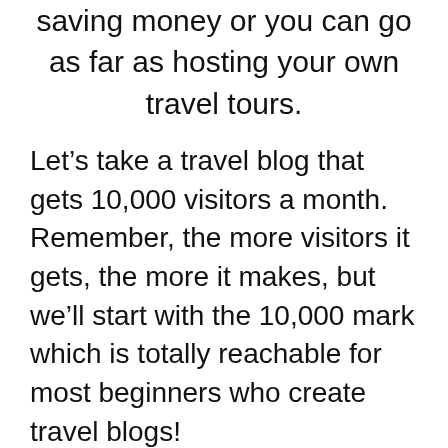saving money or you can go as far as hosting your own travel tours.
Let’s take a travel blog that gets 10,000 visitors a month. Remember, the more visitors it gets, the more it makes, but we’ll start with the 10,000 mark which is totally reachable for most beginners who create travel blogs!
1) With affiliate marketing, that travel blog can earn $1,000-$5,000 a month, passively.
You can promote all sorts of products as an affiliate, from hiking boots, to